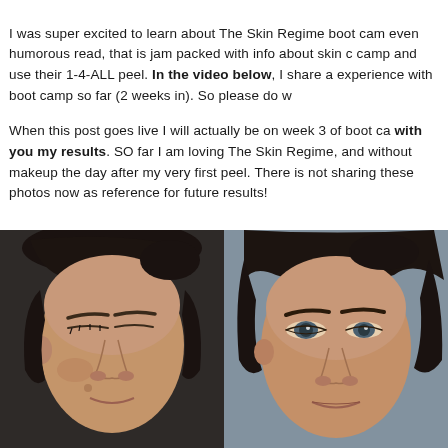I was super excited to learn about The Skin Regime boot camp and use their 1-4-ALL peel. In the video below, I share a experience with boot camp so far (2 weeks in). So please do w...
When this post goes live I will actually be on week 3 of boot camp, with you my results. SO far I am loving The Skin Regime, and without makeup the day after my very first peel. There is not sharing these photos now as reference for future results!
[Figure (photo): Two side-by-side close-up photos of a woman's face without makeup. Left photo shows her face with eyes closed at a slight angle. Right photo shows her face looking forward with eyes open. Photos appear to be before/after or reference photos for a skincare boot camp review.]